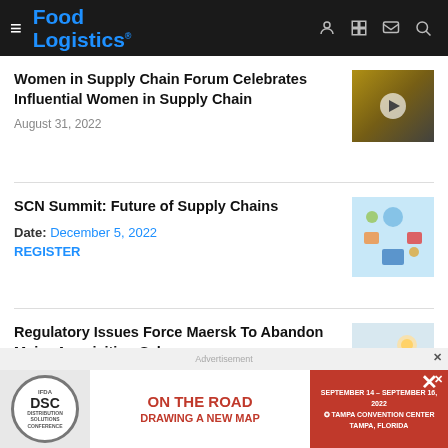Food Logistics
Women in Supply Chain Forum Celebrates Influential Women in Supply Chain
August 31, 2022
[Figure (photo): Workers in warehouse/industrial setting with play button overlay]
SCN Summit: Future of Supply Chains
Date: December 5, 2022
REGISTER
[Figure (illustration): Tech/supply chain digital illustration with icons on blue background]
Regulatory Issues Force Maersk To Abandon Major Acquisition Sale
August 29, 2022
[Figure (photo): Shipping containers stacked at port]
[Figure (infographic): IFDA DSC On The Road Drawing A New Map advertisement banner, September 14-16 2022, Tampa Convention Center, Tampa Florida]